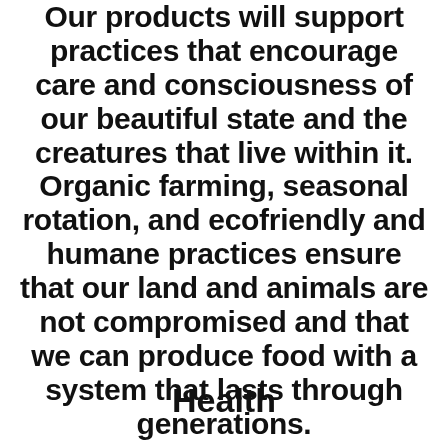Our products will support practices that encourage care and consciousness of our beautiful state and the creatures that live within it. Organic farming, seasonal rotation, and ecofriendly and humane practices ensure that our land and animals are not compromised and that we can produce food with a system that lasts through generations.
Health